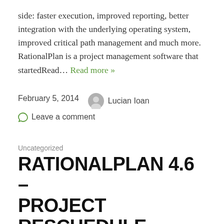side: faster execution, improved reporting, better integration with the underlying operating system, improved critical path management and much more. RationalPlan is a project management software that startedRead… Read more »
February 5, 2014   Lucian Ioan
Leave a comment
Uncategorized
RATIONALPLAN 4.6 – PROJECT RESCHEDULE, INVOICE GENERATION AND